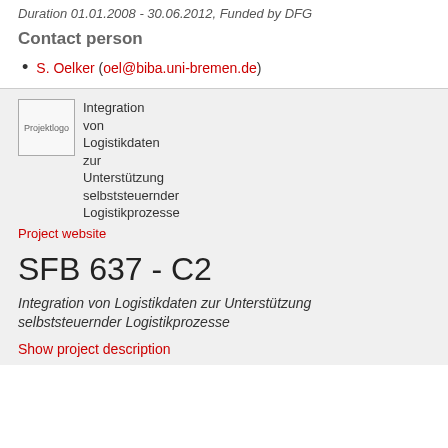Duration 01.01.2008 - 30.06.2012, Funded by DFG
Contact person
S. Oelker (oel@biba.uni-bremen.de)
[Figure (logo): Projektlogo image placeholder]
Integration von Logistikdaten zur Unterstützung selbststeuernder Logistikprozesse
Project website
SFB 637 - C2
Integration von Logistikdaten zur Unterstützung selbststeuernder Logistikprozesse
Show project description